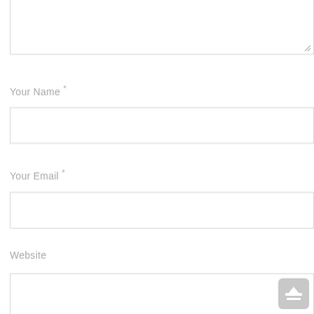[Figure (screenshot): Partially visible textarea input box at top of page with resize handle in bottom-right corner]
Your Name *
[Figure (screenshot): Empty text input field for Your Name]
Your Email *
[Figure (screenshot): Empty text input field for Your Email]
Website
[Figure (screenshot): Empty text input field for Website with upload/scroll-to-top button overlay in bottom-right corner]